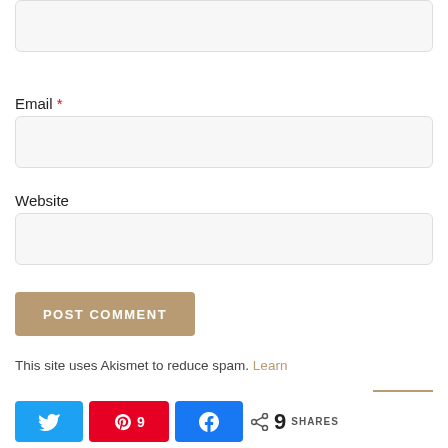[Figure (screenshot): Empty text input box at top of page (partial, cropped)]
Email *
[Figure (screenshot): Email input field box]
Website
[Figure (screenshot): Website input field box]
POST COMMENT
This site uses Akismet to reduce spam. Learn
[Figure (infographic): Social share buttons: Twitter, Pinterest (9), Facebook, and share count showing 9 SHARES]